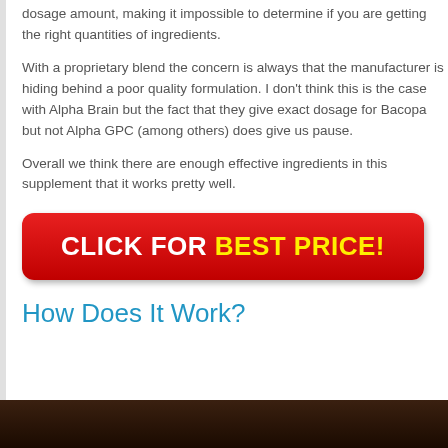dosage amount, making it impossible to determine if you are getting the right quantities of ingredients.
With a proprietary blend the concern is always that the manufacturer is hiding behind a poor quality formulation. I don't think this is the case with Alpha Brain but the fact that they give exact dosage for Bacopa but not Alpha GPC (among others) does give us pause.
Overall we think there are enough effective ingredients in this supplement that it works pretty well.
[Figure (other): Red button with white and yellow bold text reading CLICK FOR BEST PRICE!]
How Does It Work?
[Figure (photo): Dark image strip at the bottom of the page]